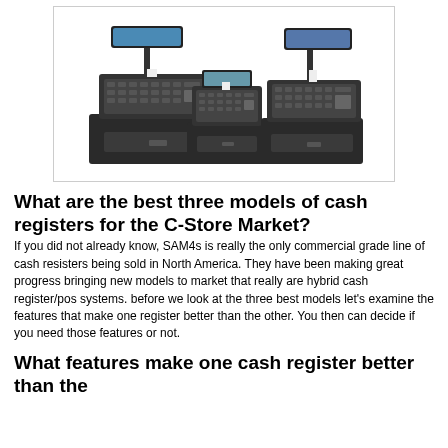[Figure (photo): Three black SAM4s commercial cash registers/POS systems arranged together, varying in size, each with a display screen and cash drawer.]
What are the best three models of cash registers for the C-Store Market?
If you did not already know, SAM4s is really the only commercial grade line of cash resisters being sold in North America. They have been making great progress bringing new models to market that really are hybrid cash register/pos systems. before we look at the three best models let's examine the features that make one register better than the other. You then can decide if you need those features or not.
What features make one cash register better than the